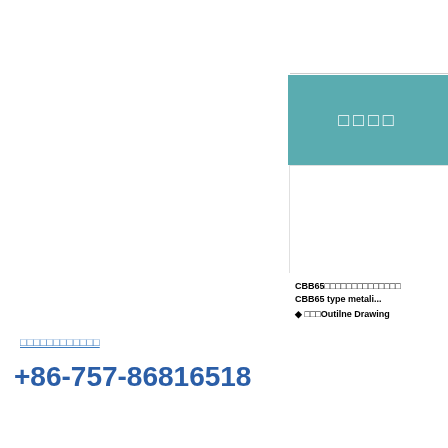[Figure (other): Teal/turquoise colored header box with white Chinese characters (square placeholders)]
[Figure (other): White content area panel on right side, appears to be a product image placeholder]
（Chinese characters - contact info link）
+86-757-86816518
CBB65（Chinese characters）CBB65 type metali...
◆ （Chinese characters）Outilne Drawing